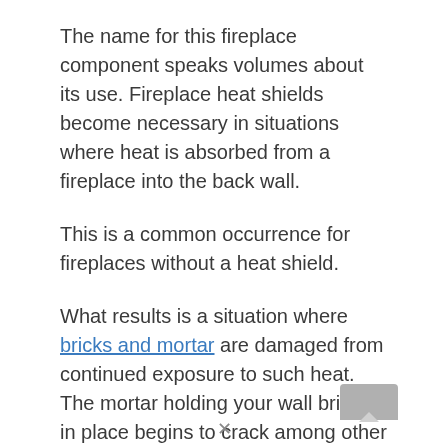The name for this fireplace component speaks volumes about its use. Fireplace heat shields become necessary in situations where heat is absorbed from a fireplace into the back wall.
This is a common occurrence for fireplaces without a heat shield.
What results is a situation where bricks and mortar are damaged from continued exposure to such heat. The mortar holding your wall bricks in place begins to crack among other forms of deterioration.